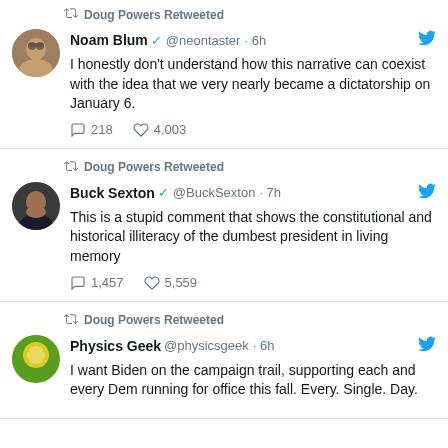Doug Powers Retweeted (partial, top cropped)
Noam Blum @neontaster · 6h — I honestly don't understand how this narrative can coexist with the idea that we very nearly became a dictatorship on January 6. — 218 replies, 4,003 likes
Doug Powers Retweeted
Buck Sexton @BuckSexton · 7h — This is a stupid comment that shows the constitutional and historical illiteracy of the dumbest president in living memory — 1,457 replies, 5,559 likes
Doug Powers Retweeted
Physics Geek @physicsgeek · 6h — I want Biden on the campaign trail, supporting each and every Dem running for office this fall. Every. Single. Day.